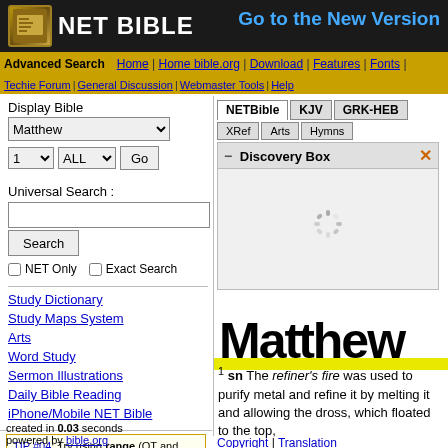NET BIBLE | Go to the New Version
Advanced Search | Home | Home bible.org | Download | Features | Fonts | Techie Forum | General Discussion | Webmaster Tools | Help
Display Bible
Matthew (dropdown), 1 ALL Go
Universal Search :
Search | NET Only | Exact Search
Study Dictionary
Study Maps System
Arts
Word Study
Sermon Illustrations
Daily Bible Reading
iPhone/Mobile NET Bible
TIP #04: Try using range (OT and NT) to better focus your searches. [ALL]
created in 0.03 seconds
powered by bible.org
[Figure (screenshot): Tabs: NETBible, KJV, GRK-HEB; XRef, Arts, Hymns; Discovery Box with loading spinner]
1 sn The refiner's fire was used to purify metal and refine it by melting it and allowing the dross, which floated to the top,
Copyright | Translation Comment/Suggestion? | Website